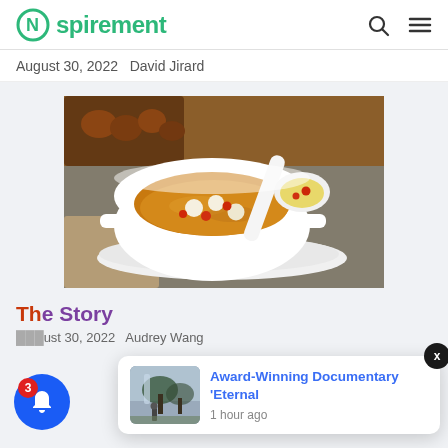Nspirement
August 30, 2022 David Jirard
[Figure (photo): A white ceramic bowl filled with sweet soup (tremella fungus, lotus seeds, goji berries) with a white spoon resting across it, placed on a white saucer with brown wooden background and dried fruits.]
The Story
August 30, 2022 Audrey Wang
[Figure (screenshot): Notification popup showing 'Award-Winning Documentary Eternal' posted 1 hour ago, with a thumbnail of a misty forest scene and a person, alongside a blue bell button with badge showing 3 and a dark close button.]